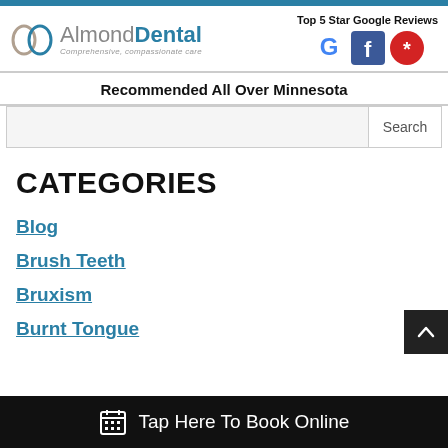[Figure (logo): Almond Dental logo with infinity/tooth icon and tagline 'Comprehensive, compassionate care']
Top 5 Star Google Reviews
[Figure (logo): Google, Facebook, and Yelp social media icons]
Recommended All Over Minnesota
Search
CATEGORIES
Blog
Brush Teeth
Bruxism
Burnt Tongue
Tap Here To Book Online